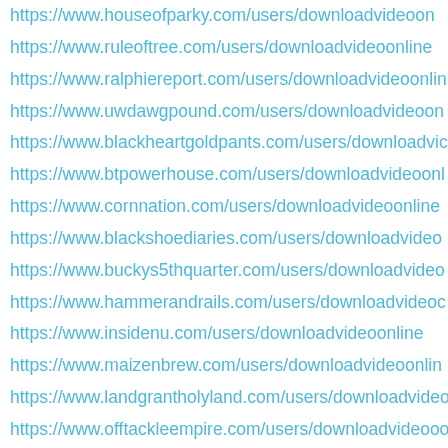https://www.houseofparky.com/users/downloadvideoon
https://www.ruleoftree.com/users/downloadvideoonline
https://www.ralphiereport.com/users/downloadvideoonlin
https://www.uwdawgpound.com/users/downloadvideoon
https://www.blackheartgoldpants.com/users/downloadvic
https://www.btpowerhouse.com/users/downloadvideoonl
https://www.cornnation.com/users/downloadvideoonline
https://www.blackshoediaries.com/users/downloadvideos
https://www.buckys5thquarter.com/users/downloadvideo
https://www.hammerandrails.com/users/downloadvideoc
https://www.insidenu.com/users/downloadvideoonline
https://www.maizenbrew.com/users/downloadvideoonlin
https://www.landgrantholyland.com/users/downloadvideo
https://www.offtackleempire.com/users/downloadvideooo
https://www.onthebanks.com/users/downloadvideoonline
https://www.testudotimes.com/users/downloadvideoonlin
https://www.thechampaignroom.com/users/downloadvid
https://www.crimsonquarry.com/users/downloadvideoonl
https://www.thedailygopher.com/users/downloadvideoon
https://www.theonlycolors.com/users/downloadvideoonli
https://www.mwcconnection.com/users/downloadvideoo
https://www.obnug.com/users/downloadvideoonline
https://www.againstallenemies.com/users/downloadvide